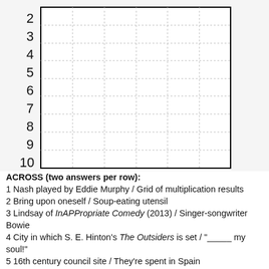[Figure (other): Partial crossword-style grid with row numbers 2 through 10 on the left side and a dotted grid pattern inside a black border rectangle.]
ACROSS (two answers per row):
1 Nash played by Eddie Murphy / Grid of multiplication results
2 Bring upon oneself / Soup-eating utensil
3 Lindsay of InAPPropriate Comedy (2013) / Singer-songwriter Bowie
4 City in which S. E. Hinton's The Outsiders is set / "_____ my soul!"
5 16th century council site / They're spent in Spain
6 Land area / Victoria's Secret offering